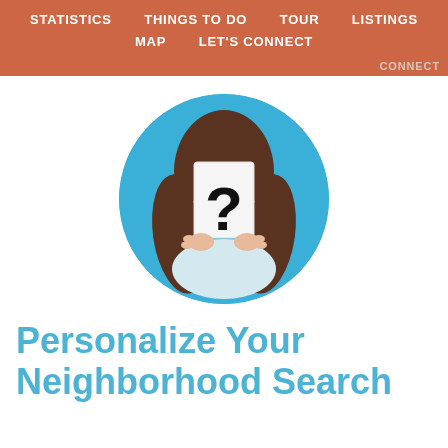STATISTICS  THINGS TO DO  TOUR  LISTINGS  MAP  LET'S CONNECT
[Figure (photo): A woman with long brown hair holding a white card with a large question mark in front of her face, set against a blue circle background]
Personalize Your Neighborhood Search